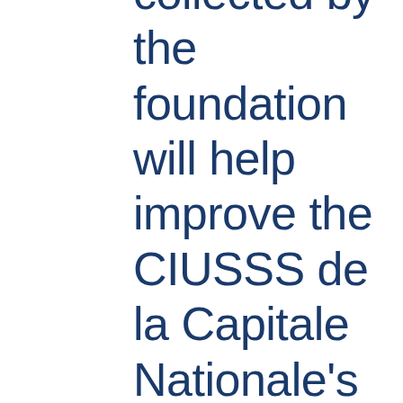collected by the foundation will help improve the CIUSSS de la Capitale Nationale's offer of services, precisely with users of the Institut de réadaptation